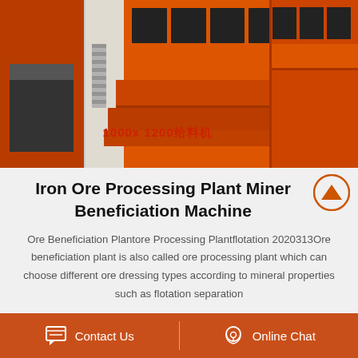[Figure (photo): Industrial red ore processing/feeding machine (给料机) with multiple compartments and slots, labeled '1000x 1200给料机' in red text]
Iron Ore Processing Plant Mineral Beneficiation Machine
Ore Beneficiation Plantore Processing Plantflotation 2020313Ore beneficiation plant is also called ore processing plant which can choose different ore dressing types according to mineral properties such as flotation separation
Contact Us    Online Chat